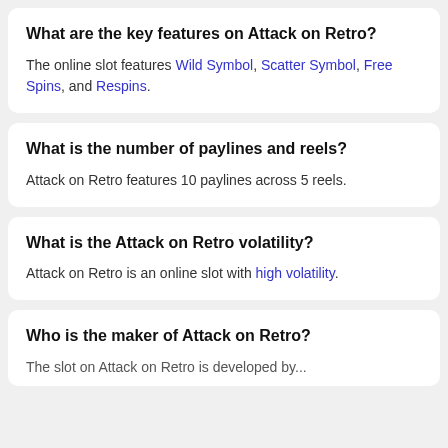What are the key features on Attack on Retro?
The online slot features Wild Symbol, Scatter Symbol, Free Spins, and Respins.
What is the number of paylines and reels?
Attack on Retro features 10 paylines across 5 reels.
What is the Attack on Retro volatility?
Attack on Retro is an online slot with high volatility.
Who is the maker of Attack on Retro?
The slot...